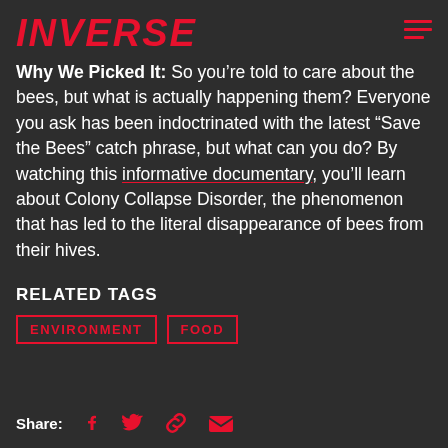INVERSE
Why We Picked It: So you’re told to care about the bees, but what is actually happening them? Everyone you ask has been indoctrinated with the latest “Save the Bees” catch phrase, but what can you do? By watching this informative documentary, you’ll learn about Colony Collapse Disorder, the phenomenon that has led to the literal disappearance of bees from their hives.
RELATED TAGS
ENVIRONMENT
FOOD
Share: